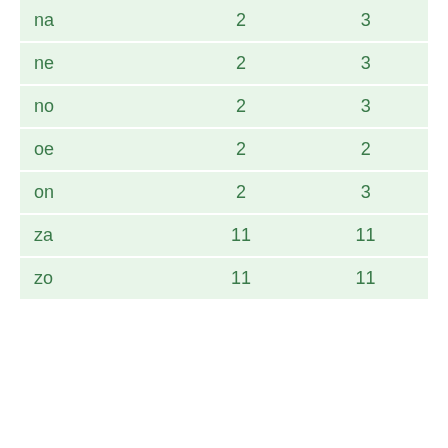| na | 2 | 3 |
| ne | 2 | 3 |
| no | 2 | 3 |
| oe | 2 | 2 |
| on | 2 | 3 |
| za | 11 | 11 |
| zo | 11 | 11 |